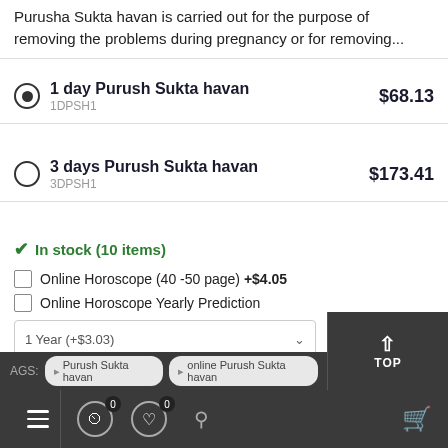Purusha Sukta havan is carried out for the purpose of removing the problems during pregnancy or for removing...
1 day Purush Sukta havan  $68.13
1DPSH1
3 days Purush Sukta havan  $173.41
3DPSH1
In stock (10 items)
Online Horoscope (40 -50 page) +$4.05
Online Horoscope Yearly Prediction
1 Year (+$3.03)
$68.13
1
CLICK TO BUY
AGS:  Purush Sukta havan  online Purush Sukta havan
0  0  TOP